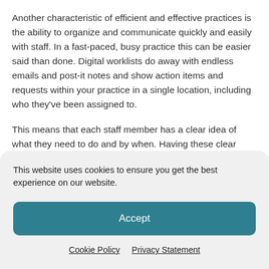Another characteristic of efficient and effective practices is the ability to organize and communicate quickly and easily with staff. In a fast-paced, busy practice this can be easier said than done. Digital worklists do away with endless emails and post-it notes and show action items and requests within your practice in a single location, including who they've been assigned to.
This means that each staff member has a clear idea of what they need to do and by when. Having these clear accountabilities streamlines your practice workflow,
This website uses cookies to ensure you get the best experience on our website.
Accept
Cookie Policy   Privacy Statement